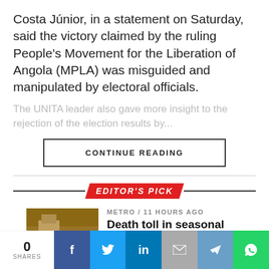Costa Júnior, in a statement on Saturday, said the victory claimed by the ruling People's Movement for the Liberation of Angola (MPLA) was misguided and manipulated by electoral officials.
The UNITA leader also gave more insight to the rejection of the election results by...
CONTINUE READING
EDITOR'S PICK
METRO / 11 hours ago
Death toll in seasonal Sudanese floods now over 100 – Civil Defence Council
METRO / 11 hours ago
0 SHARES